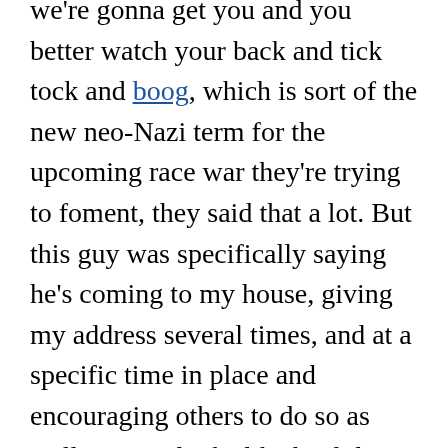we're gonna get you and you better watch your back and tick tock and boog, which is sort of the new neo-Nazi term for the upcoming race war they're trying to foment, they said that a lot. But this guy was specifically saying he's coming to my house, giving my address several times, and at a specific time in place and encouraging others to do so as well. Now it looks like he didn't encourage anyone. But you know, he and five other people came to Old Town before, parading around our farmers market. It's this just wonderful thing we've had every Sunday for 200-plus years that he and his five goons ruined. I'm told they didn't even